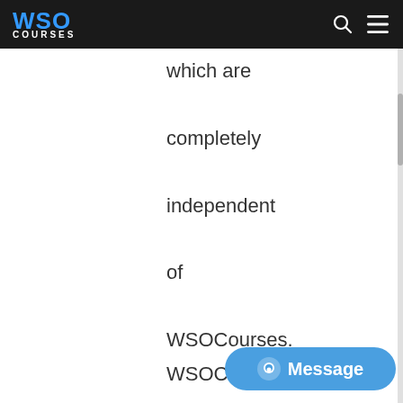WSO COURSES
which are completely independent of WSOCourses. WSOCourses makes no representations or warranties as to the accuracy, completeness or authenticity